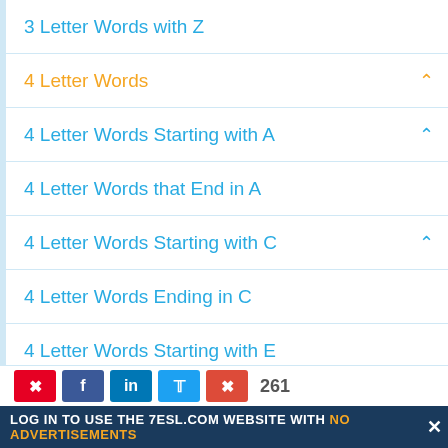3 Letter Words with Z
4 Letter Words
4 Letter Words Starting with A
4 Letter Words that End in A
4 Letter Words Starting with C
4 Letter Words Ending in C
4 Letter Words Starting with E
4 Letter Words Starting with I
4 Letter Words Ending In I
4 Letter Words with J
4 Letter Words Ending in J
261
LOG IN TO USE THE 7ESL.COM WEBSITE WITH NO ADVERTISEMENTS